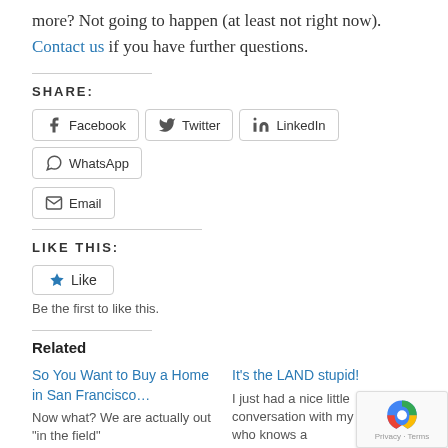more? Not going to happen (at least not right now). Contact us if you have further questions.
SHARE:
Facebook Twitter LinkedIn WhatsApp Email (share buttons)
LIKE THIS:
Like
Be the first to like this.
Related
So You Want to Buy a Home in San Francisco… Now what? We are actually out "in the field"
It's the LAND stupid! I just had a nice little conversation with my neighbor who knows a